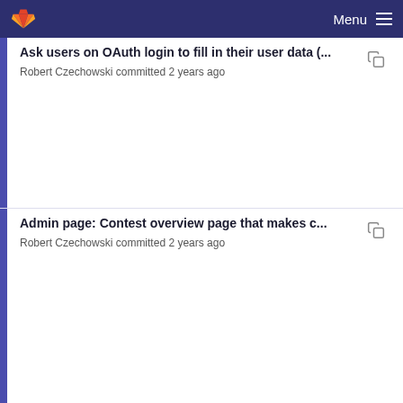GitLab navigation bar with Menu
Ask users on OAuth login to fill in their user data (... — Robert Czechowski committed 2 years ago
Admin page: Contest overview page that makes c... — Robert Czechowski committed 2 years ago
Ask users on OAuth login to fill in their user data (... — Robert Czechowski committed 2 years ago
Admin page: Contest overview page that makes c... — Robert Czechowski committed 2 years ago
Admin page: Contest export: Export into file: Crea...